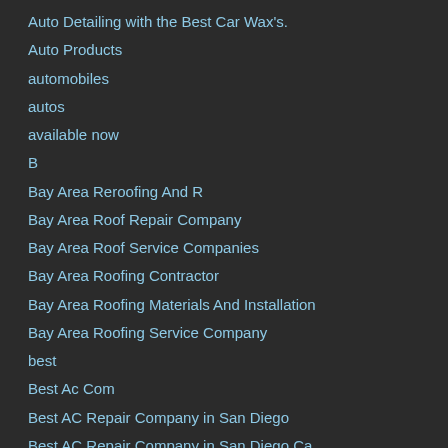Auto Detailing with the Best Car Wax's.
Auto Products
automobiles
autos
available now
B
Bay Area Reroofing And R
Bay Area Roof Repair Company
Bay Area Roof Service Companies
Bay Area Roofing Contractor
Bay Area Roofing Materials And Installation
Bay Area Roofing Service Company
best
Best Ac Com
Best AC Repair Company in San Diego
Best AC Repair Company in San Diego Ca
Best AC Repair Company San Diego